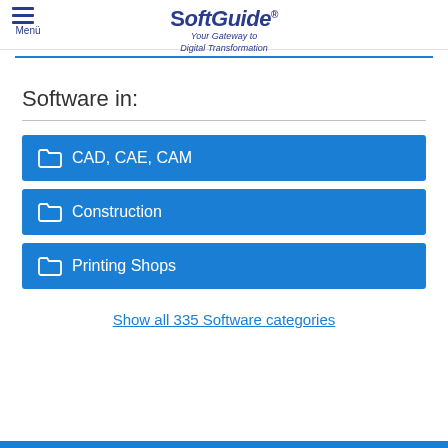Menü | SoftGuide® Your Gateway to Digital Transformation
Software in:
CAD, CAE, CAM
Construction
Printing Shops
Show all 335 Software categories